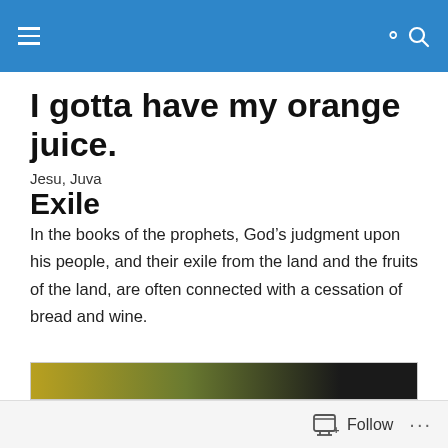Navigation header with hamburger menu and search icon
I gotta have my orange juice.
Jesu, Juva
Exile
In the books of the prophets, God’s judgment upon his people, and their exile from the land and the fruits of the land, are often connected with a cessation of bread and wine.
[Figure (photo): Partial view of a photo at the bottom of the page, showing a dark image strip]
Follow